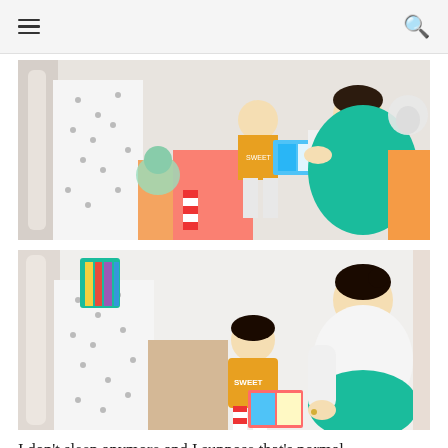☰  🔍
[Figure (photo): A pregnant woman in a green dress and white top reading a book with a toddler in a yellow shirt, sitting on a bed with colorful pillows and stuffed animals.]
[Figure (photo): Close-up of the same pregnant woman in white top and green skirt sitting on a bed, leaning over to read a book with a toddler in a yellow shirt. A teal book shelf is mounted on the white wall behind them.]
I don't sleep anymore and I suppose that's normal. I've been awake since 4:30 this morning and then Birdie was awoken by the torrential rain that began